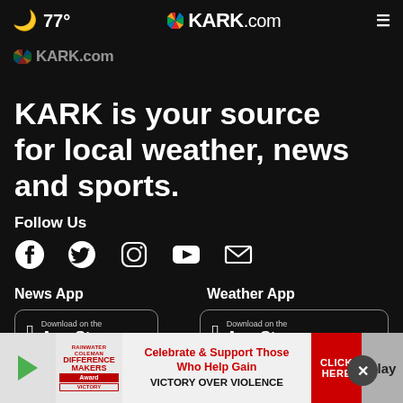77° KARK.com
[Figure (logo): KARK.com logo partially visible]
KARK is your source for local weather, news and sports.
Follow Us
[Figure (infographic): Social media icons: Facebook, Twitter, Instagram, YouTube, Email]
News App
Weather App
[Figure (screenshot): Download on the App Store button for News App]
[Figure (screenshot): Download on the App Store button for Weather App]
[Figure (infographic): Advertisement banner: Celebrate & Support Those Who Help Gain Victory Over Violence. CLICK HERE. Difference Makers Award.]